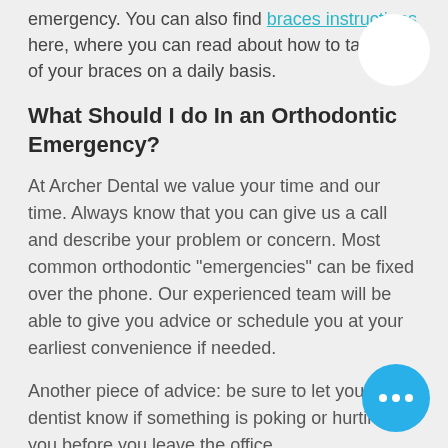emergency. You can also find braces instructions here, where you can read about how to take care of your braces on a daily basis.
What Should I do In an Orthodontic Emergency?
At Archer Dental we value your time and our time. Always know that you can give us a call and describe your problem or concern. Most common orthodontic "emergencies" can be fixed over the phone. Our experienced team will be able to give you advice or schedule you at your earliest convenience if needed.
Another piece of advice: be sure to let your dentist know if something is poking or hurting you before you leave the office.